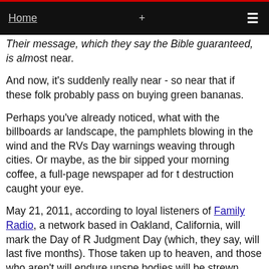Home +  ☰
Their message, which they say the Bible guaranteed, is almost near.
And now, it's suddenly really near - so near that if these folks are right, you'd probably pass on buying green bananas.
Perhaps you've already noticed, what with the billboards all over the landscape, the pamphlets blowing in the wind and the RVs with Judgment Day warnings weaving through cities. Or maybe, as the birds chirped and you sipped your morning coffee, a full-page newspaper ad for the coming destruction caught your eye.
May 21, 2011, according to loyal listeners of Family Radio, a Christian radio network based in Oakland, California, will mark the Day of Rapture and start of Judgment Day (which, they say, will last five months). Those worthy of salvation will be taken up to heaven, and those who aren't will endure unspeakable torment. Their bodies will be strewn about as earthquakes ravage the Earth. And then, on October 21, they'll tell you, the entire world will be kaput.
It's the kind of belief that riles up churchgoers who insist no one can predict when Judgment Day will come, and the sort that many say does...